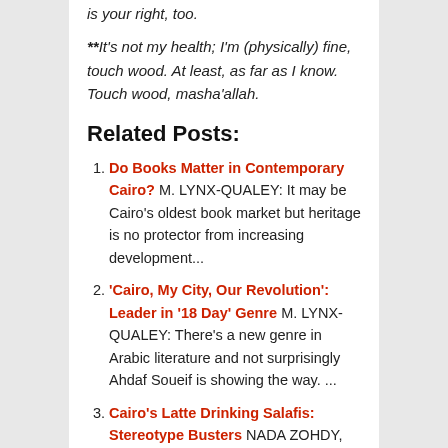is your right, too.

**It's not my health; I'm (physically) fine, touch wood. At least, as far as I know. Touch wood, masha'allah.
Related Posts:
Do Books Matter in Contemporary Cairo? M. LYNX-QUALEY: It may be Cairo's oldest book market but heritage is no protector from increasing development...
'Cairo, My City, Our Revolution': Leader in '18 Day' Genre M. LYNX-QUALEY: There's a new genre in Arabic literature and not surprisingly Ahdaf Soueif is showing the way. ...
Cairo's Latte Drinking Salafis: Stereotype Busters NADA ZOHDY, CGNEWS: You'll find them at Costa or Starbucks. They're happy to discuss rather than denounce and they're seeking ways to build Egypt's civil society. ...
A 'Compelling' Vision of Cairo 'In All Its